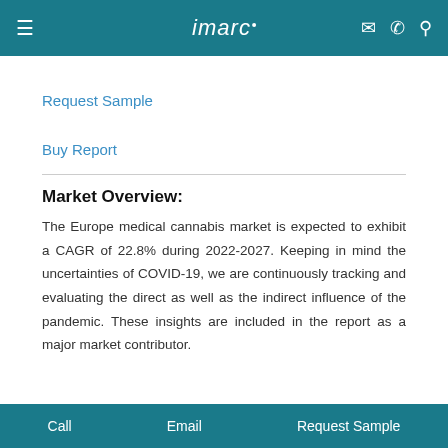imarc
Request Sample
Buy Report
Market Overview:
The Europe medical cannabis market is expected to exhibit a CAGR of 22.8% during 2022-2027. Keeping in mind the uncertainties of COVID-19, we are continuously tracking and evaluating the direct as well as the indirect influence of the pandemic. These insights are included in the report as a major market contributor.
Call   Email   Request Sample